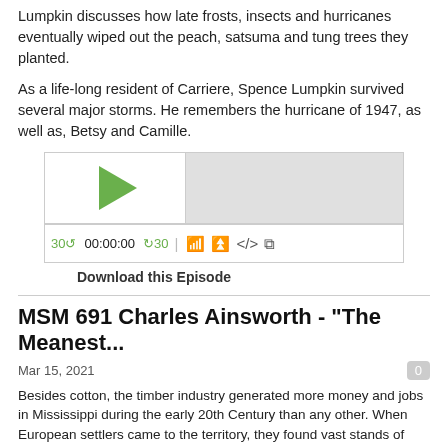Lumpkin discusses how late frosts, insects and hurricanes eventually wiped out the peach, satsuma and tung trees they planted.
As a life-long resident of Carriere, Spence Lumpkin survived several major storms. He remembers the hurricane of 1947, as well as, Betsy and Camille.
[Figure (screenshot): Audio player widget with green play button, progress bar, time controls showing 00:00:00, and icons for streaming, download, embed, and share.]
Download this Episode
MSM 691 Charles Ainsworth - "The Meanest...
Mar 15, 2021
Besides cotton, the timber industry generated more money and jobs in Mississippi during the early 20th Century than any other. When European settlers came to the territory, they found vast stands of virgin long-leaf yellow pine trees. But it took until the late 1800s before the technology was developed to harvest these giant trees for their high-quality lumber. By WWI,